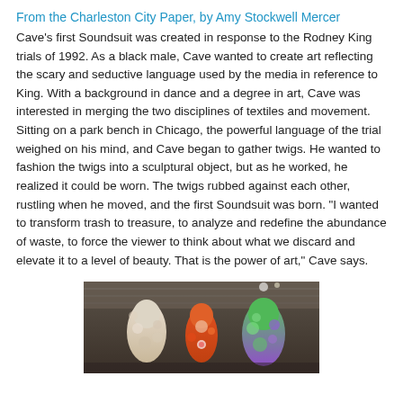From the Charleston City Paper, by Amy Stockwell Mercer
Cave's first Soundsuit was created in response to the Rodney King trials of 1992. As a black male, Cave wanted to create art reflecting the scary and seductive language used by the media in reference to King. With a background in dance and a degree in art, Cave was interested in merging the two disciplines of textiles and movement. Sitting on a park bench in Chicago, the powerful language of the trial weighed on his mind, and Cave began to gather twigs. He wanted to fashion the twigs into a sculptural object, but as he worked, he realized it could be worn. The twigs rubbed against each other, rustling when he moved, and the first Soundsuit was born. "I wanted to transform trash to treasure, to analyze and redefine the abundance of waste, to force the viewer to think about what we discard and elevate it to a level of beauty. That is the power of art," Cave says.
[Figure (photo): Performers wearing elaborate, colorful Soundsuits by Nick Cave in what appears to be a large indoor venue or arena. The suits are highly decorative with textures, colors including white/cream, red/orange, and green/purple.]